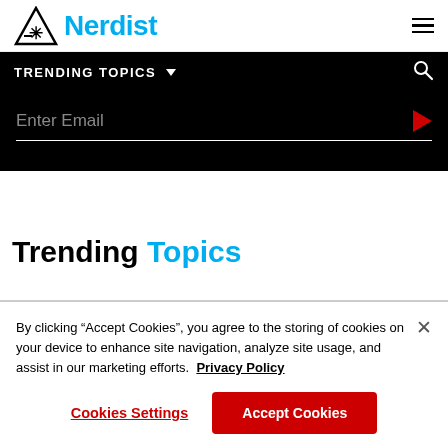Nerdist
TRENDING TOPICS
Enter Email
Trending Topics
By clicking “Accept Cookies”, you agree to the storing of cookies on your device to enhance site navigation, analyze site usage, and assist in our marketing efforts.  Privacy Policy
Cookies Settings
Accept Cookies